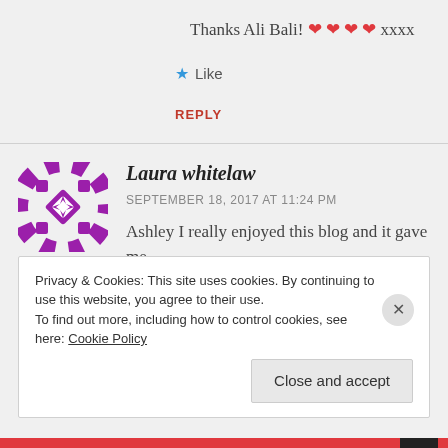Thanks Ali Bali! ❤❤❤❤ xxxx
★ Like
REPLY
[Figure (illustration): Purple mandala/geometric avatar for Laura whitelaw]
Laura whitelaw
SEPTEMBER 18, 2017 AT 11:24 PM
Ashley I really enjoyed this blog and it gave me
Privacy & Cookies: This site uses cookies. By continuing to use this website, you agree to their use. To find out more, including how to control cookies, see here: Cookie Policy
Close and accept